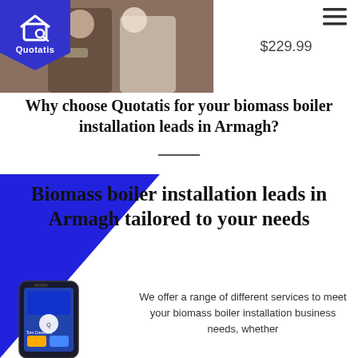[Figure (logo): Quotatis logo — blue pentagon badge with white house/speech-bubble icon and text 'Quotatis']
[Figure (photo): Wedding couple photo cropped — man in suit and woman in white dress holding white flower]
$229.99
Why choose Quotatis for your biomass boiler installation leads in Armagh?
[Figure (illustration): Blue triangle/shape in lower-left corner of section]
Biomass boiler installation leads in Armagh tailored to your needs
[Figure (screenshot): Smartphone showing Quotatis app with user Tom Cresswell]
We offer a range of different services to meet your biomass boiler installation business needs, whether